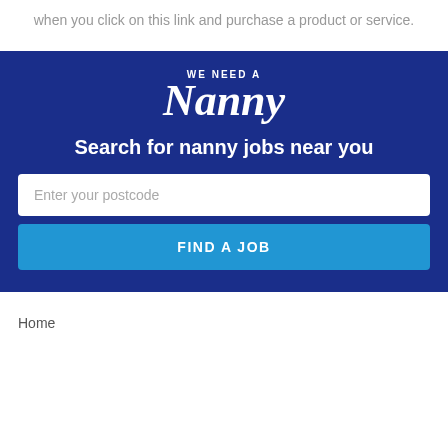when you click on this link and purchase a product or service.
[Figure (logo): We Need A Nanny logo on dark blue background with search form]
Home